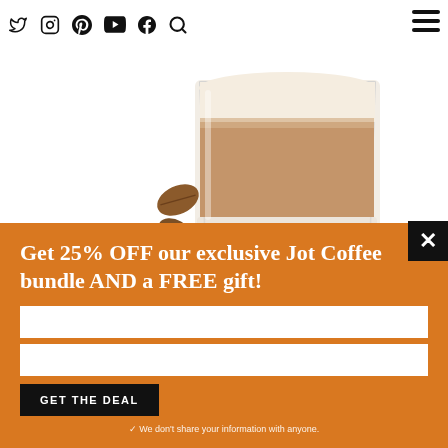Navigation icons: Twitter, Instagram, Pinterest, YouTube, Facebook, Search, Hamburger menu
[Figure (photo): A glass of layered latte coffee with cream/milk foam on top, set against a white background, with several roasted coffee beans scattered around the base of the glass.]
Get 25% OFF our exclusive Jot Coffee bundle AND a FREE gift!
✓ We don't share your information with anyone.